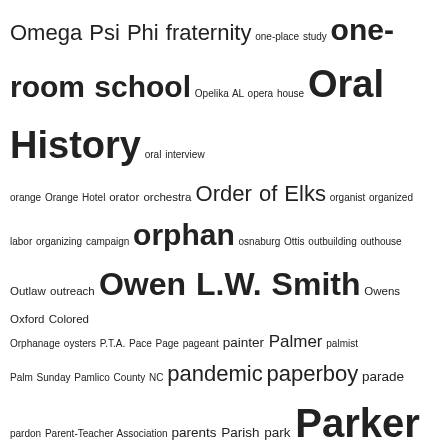Omega Psi Phi fraternity one-place study one-room school Opelika AL opera house Oral History oral interview orange Orange Hotel orator orchestra Order of Elks organist organized labor organizing campaign orphan osnaburg Ottis outbuilding outhouse Outlaw outreach Owen L.W. Smith Owens Oxford Colored Orphanage oysters P.T.A. Pace Page pageant painter Palmer palmist Palm Sunday Pamlico County NC pandemic paperboy parade pardon Parent-Teacher Association parents Parish park Parker Parks parochial school Parrington parsonage partition passenger list passing passport pastor pasture Pate paternalism paternity patricide Patrick patronage job Patterson PBS Peacock Pearce Pearson Peele Pellan Pender Pendergrass Pender Street penmanship pension Pentecostal church Pentecostal Holiness church Pentecostalism Peoples people with disabilities pep squad Percival percussion performer Perrington Perry Person pertussis petition Pettiford Pettigrew Street Peyton pharmacist pharmacy Phi Beta Sigma fraternity Phillips photo album photo booth photograph photographer photography